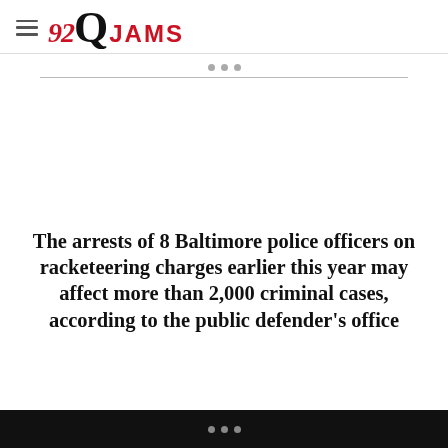92Q JAMS
The arrests of 8 Baltimore police officers on racketeering charges earlier this year may affect more than 2,000 criminal cases, according to the public defender's office